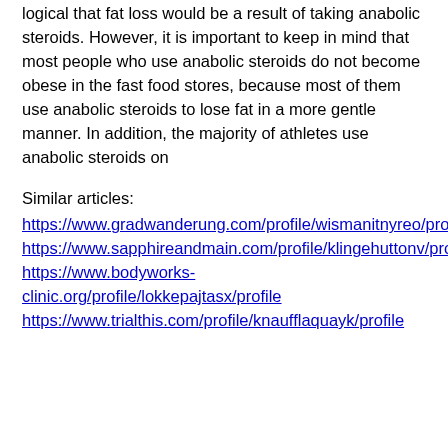logical that fat loss would be a result of taking anabolic steroids. However, it is important to keep in mind that most people who use anabolic steroids do not become obese in the fast food stores, because most of them use anabolic steroids to lose fat in a more gentle manner. In addition, the majority of athletes use anabolic steroids on
Similar articles:
https://www.gradwanderung.com/profile/wismanitnyreo/profile
https://www.sapphireandmain.com/profile/klingehuttonv/profile
https://www.bodyworks-clinic.org/profile/lokkepajtasx/profile
https://www.trialthis.com/profile/knaufflaquayk/profile